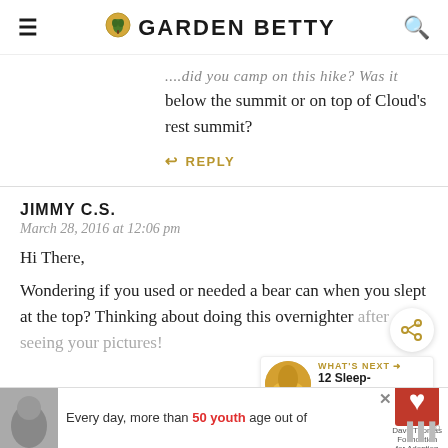GARDEN BETTY
...did you camp on this hike? Was it below the summit or on top of Cloud's rest summit?
↩ REPLY
JIMMY C.S.
March 28, 2016 at 12:06 pm
Hi There,
Wondering if you used or needed a bear can when you slept at the top? Thinking about doing this overnighter after seeing your pictures!